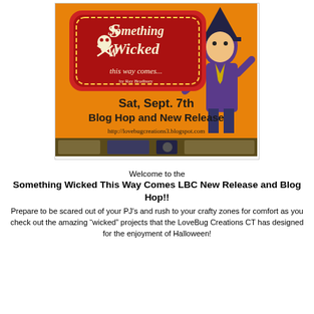[Figure (illustration): Halloween promotional image for 'Something Wicked This Way Comes' blog hop event. Orange background with a stylized witch/villain figure in purple, decorative red sign with skull and crossbones. Text reads: 'Something Wicked this way comes...' 'Sat, Sept. 7th Blog Hop and New Release' 'http://lovebugcreations3.blogspot.com']
Welcome to the Something Wicked This Way Comes LBC New Release and Blog Hop!! Prepare to be scared out of your PJ's and rush to your crafty zones for comfort as you check out the amazing "wicked" projects that the LoveBug Creations CT has designed for the enjoyment of Halloween!